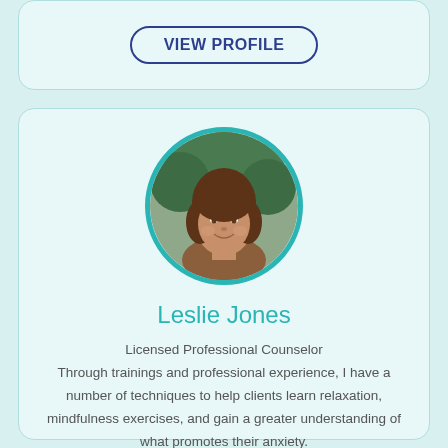VIEW PROFILE
[Figure (photo): Circular profile photo of Leslie Jones, a woman with brown shoulder-length hair, smiling, with a teal border]
Leslie Jones
Licensed Professional Counselor
Through trainings and professional experience, I have a number of techniques to help clients learn relaxation, mindfulness exercises, and gain a greater understanding of what promotes their anxiety.